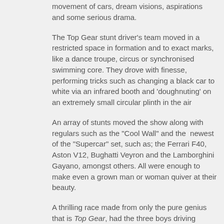movement of cars, dream visions, aspirations and some serious drama.
The Top Gear stunt driver's team moved in a restricted space in formation and to exact marks, like a dance troupe, circus or synchronised swimming core. They drove with finesse, performing tricks such as changing a black car to white via an infrared booth and ‘doughnuting’ on an extremely small circular plinth in the air
An array of stunts moved the show along with regulars such as the "Cool Wall" and the newest of the "Supercar" set, such as; the Ferrari F40, Aston V12, Bughatti Veyron and the Lamborghini Gayano, amongst others. All were enough to make even a grown man or woman quiver at their beauty.
A thrilling race made from only the pure genius that is Top Gear, had the three boys driving against each other along with the other stunt drivers, flipping the cars at any given moment around corners or bumping